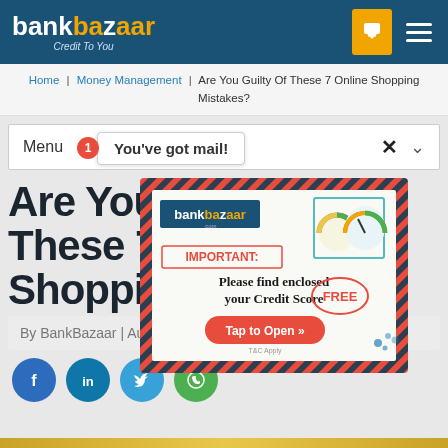bankbazaar Credit To You
Home | Money Management | Are You Guilty Of These 7 Online Shopping Mistakes?
Menu  You've got mail!
[Figure (infographic): BankBazaar promotional envelope ad with text: IMPORTANT: Please find enclosed your Credit Score FREE. Tap to Open »]
Are You Guilty Of These 7 Online Shopping Mistakes?
By BankBazaar | August 10, 2017
[Figure (infographic): Social sharing icons: Facebook, LinkedIn, Twitter, WhatsApp]